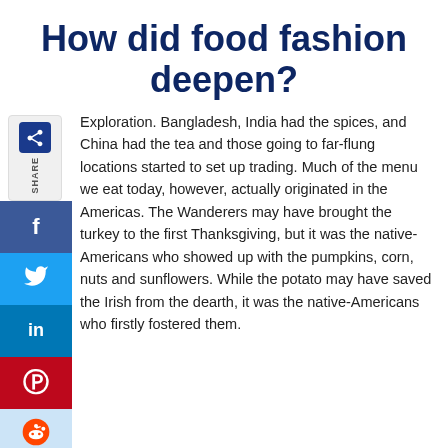How did food fashion deepen?
Exploration. Bangladesh, India had the spices, and China had the tea and those going to far-flung locations started to set up trading. Much of the menu we eat today, however, actually originated in the Americas. The Wanderers may have brought the turkey to the first Thanksgiving, but it was the native-Americans who showed up with the pumpkins, corn, nuts and sunflowers. While the potato may have saved the Irish from the dearth, it was the native-Americans who firstly fostered them.
Refrigeration. While it was invented in 1805, refrigerators didn't really become a must-have have